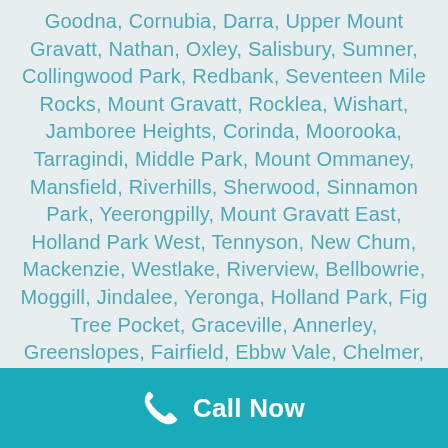Goodna, Cornubia, Darra, Upper Mount Gravatt, Nathan, Oxley, Salisbury, Sumner, Collingwood Park, Redbank, Seventeen Mile Rocks, Mount Gravatt, Rocklea, Wishart, Jamboree Heights, Corinda, Moorooka, Tarragindi, Middle Park, Mount Ommaney, Mansfield, Riverhills, Sherwood, Sinnamon Park, Yeerongpilly, Mount Gravatt East, Holland Park West, Tennyson, New Chum, Mackenzie, Westlake, Riverview, Bellbowrie, Moggill, Jindalee, Yeronga, Holland Park, Fig Tree Pocket, Graceville, Annerley, Greenslopes, Fairfield, Ebbw Vale, Chelmer, Dinmore, Pinjarra Hills, Barellan Point, Bundamba, Dutton Park, Anstead, Carina Heights, Blackstone, Carindale, Coorparoo, Kenmore, Woolloongabba, Brisbane Southside, St Lucia, Indooroopilly, Chapel Hill, Carina, Camp Hill, Flinders View, Silkstone, Highgate Hill, Taringa, Booval, Toowong, North Booval, Karalee, Raceview,
Call Now